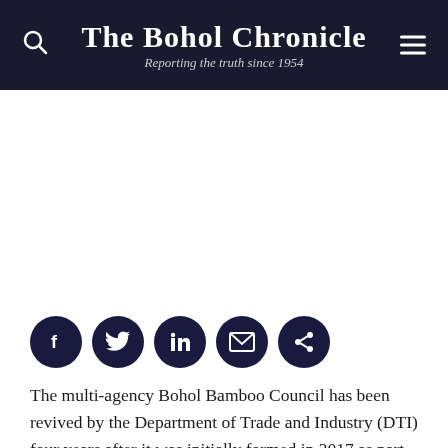The Bohol Chronicle — Reporting the truth since 1954
[Figure (other): Advertisement placeholder area (white/blank)]
[Figure (other): Social share icons: Facebook, Twitter, LinkedIn, Email, Share]
The multi-agency Bohol Bamboo Council has been revived by the Department of Trade and Industry (DTI) four years after it was initially formed in 2017 as part of efforts to promote